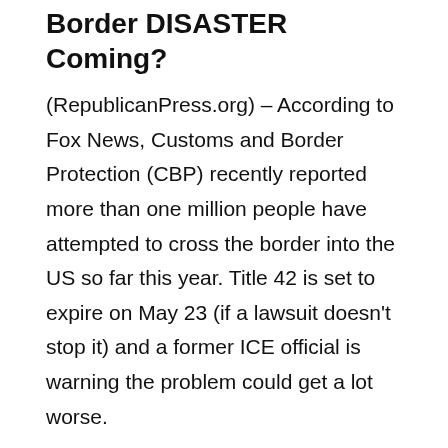Border DISASTER Coming?
(RepublicanPress.org) – According to Fox News, Customs and Border Protection (CBP) recently reported more than one million people have attempted to cross the border into the US so far this year. Title 42 is set to expire on May 23 (if a lawsuit doesn't stop it) and a former ICE official is warning the problem could get a lot worse.
Former ICE Attorney John Giron said there are already delays at processing facilities in Florida, and the lines of people will only continue to